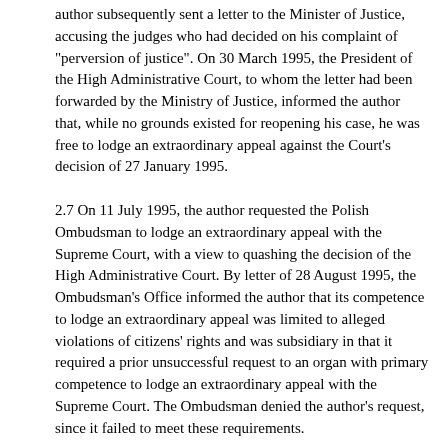author subsequently sent a letter to the Minister of Justice, accusing the judges who had decided on his complaint of "perversion of justice". On 30 March 1995, the President of the High Administrative Court, to whom the letter had been forwarded by the Ministry of Justice, informed the author that, while no grounds existed for reopening his case, he was free to lodge an extraordinary appeal against the Court's decision of 27 January 1995.
2.7 On 11 July 1995, the author requested the Polish Ombudsman to lodge an extraordinary appeal with the Supreme Court, with a view to quashing the decision of the High Administrative Court. By letter of 28 August 1995, the Ombudsman's Office informed the author that its competence to lodge an extraordinary appeal was limited to alleged violations of citizens' rights and was subsidiary in that it required a prior unsuccessful request to an organ with primary competence to lodge an extraordinary appeal with the Supreme Court. The Ombudsman denied the author's request, since it failed to meet these requirements.
2.8 The author then asked the Ombudsman to forward his request to the Minister of Justice. On 13 November 1995, he sent a copy of the request to lodge an extraordinary appeal with the Supreme Court to the Minister of Justice.